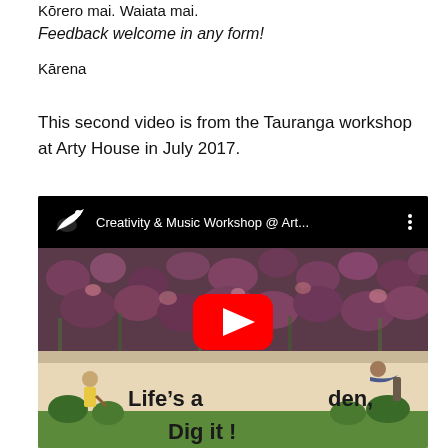Kōrero mai. Waiata mai.
Feedback welcome in any form!
Kārena
This second video is from the Tauranga workshop at Arty House in July 2017.
[Figure (screenshot): YouTube video embed showing 'Creativity & Music Workshop @ Art...' with a thumbnail featuring purple foliage on top and a garden mural reading 'Life's a garden, Dig it!' on the bottom, with a red YouTube play button overlay.]